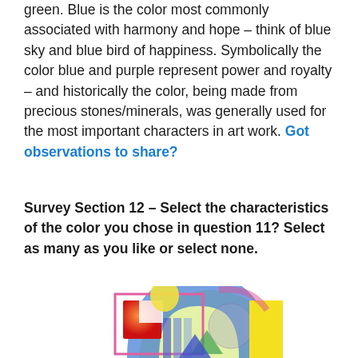green. Blue is the color most commonly associated with harmony and hope – think of blue sky and blue bird of happiness. Symbolically the color blue and purple represent power and royalty – and historically the color, being made from precious stones/minerals, was generally used for the most important characters in art work. Got observations to share?
Survey Section 12 – Select the characteristics of the color you chose in question 11? Select as many as you like or select none.
[Figure (illustration): Colorful geometric shapes illustration with overlapping rectangles, circles, arches, and triangles in blue, red, yellow, green, and purple tones forming an abstract art composition.]